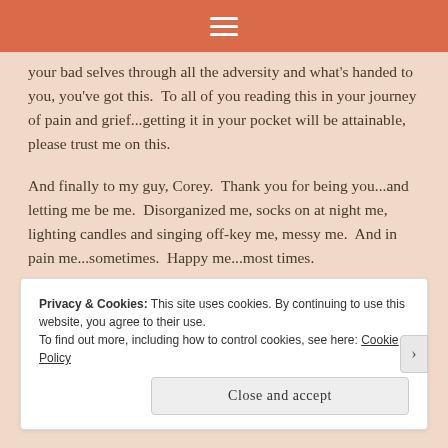☰
your bad selves through all the adversity and what's handed to you, you've got this. To all of you reading this in your journey of pain and grief...getting it in your pocket will be attainable, please trust me on this.
And finally to my guy, Corey. Thank you for being you...and letting me be me. Disorganized me, socks on at night me, lighting candles and singing off-key me, messy me. And in pain me...sometimes. Happy me...most times.
Privacy & Cookies: This site uses cookies. By continuing to use this website, you agree to their use.
To find out more, including how to control cookies, see here: Cookie Policy
Close and accept